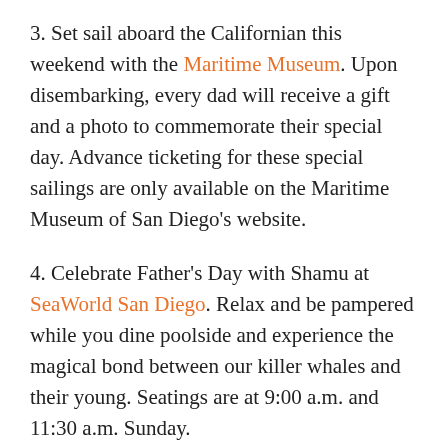3. Set sail aboard the Californian this weekend with the Maritime Museum. Upon disembarking, every dad will receive a gift and a photo to commemorate their special day. Advance ticketing for these special sailings are only available on the Maritime Museum of San Diego's website.
4. Celebrate Father's Day with Shamu at SeaWorld San Diego. Relax and be pampered while you dine poolside and experience the magical bond between our killer whales and their young. Seatings are at 9:00 a.m. and 11:30 a.m. Sunday.
5. Bring dad aboard a luxurious yacht for a special Father's Day Prime Rib Dinner cruise with Flagship Cruises and Events. This 2-1/2 hour San Diego dinner cruise includes a three course meal featuring